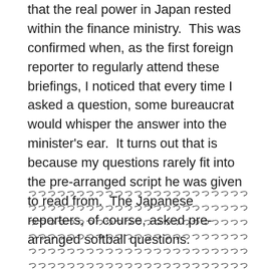that the real power in Japan rested within the finance ministry.  This was confirmed when, as the first foreign reporter to regularly attend these briefings, I noticed that every time I asked a question, some bureaucrat would whisper the answer into the minister's ear.  It turns out that is because my questions rarely fit into the pre-arranged script he was given to read from.  The Japanese reporters, of course, asked pre-arranged softball questions.
（日本語テキスト）
In any case, after realizing the finance minister was a puppet, I decided to go straight to the source and talk directly to the bureaucrats.  I soon found out they would only give me straightforward answers when I called them at night on their